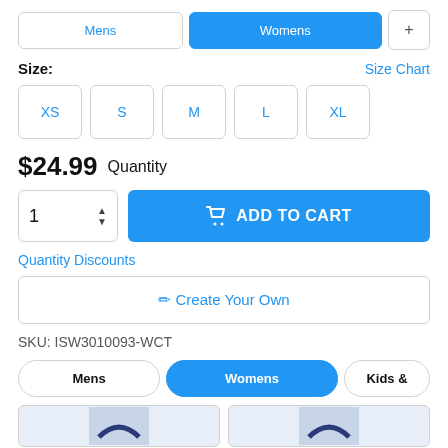Mens | Womens | +
Size:
Size Chart
XS
S
M
L
XL
$24.99 Quantity
1  ⬆⬇  ADD TO CART
Quantity Discounts
✏ Create Your Own
SKU: ISW3010093-WCT
Mens | Womens | Kids &
[Figure (photo): Two product thumbnail images partially visible at bottom]